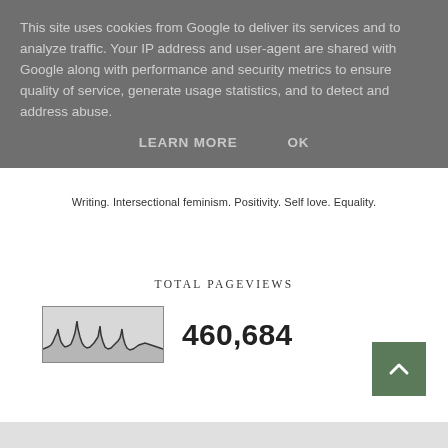This site uses cookies from Google to deliver its services and to analyze traffic. Your IP address and user-agent are shared with Google along with performance and security metrics to ensure quality of service, generate usage statistics, and to detect and address abuse.
LEARN MORE   OK
Writing. Intersectional feminism. Positivity. Self love. Equality.
TOTAL PAGEVIEWS
[Figure (continuous-plot): Small thumbnail line/area chart showing pageview history as jagged waveform with dark spikes on light gray background]
460,684